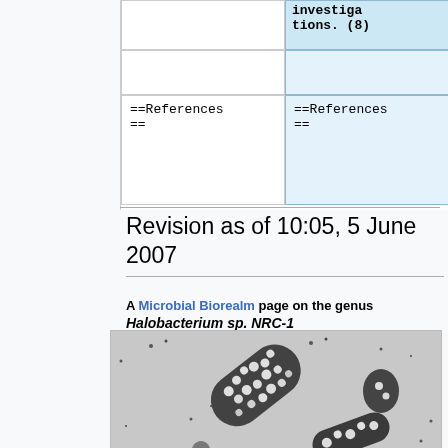| [truncated blue cell top-right with text: investiga tions. (8) |  |
|  |  |
| ==References == | ==References == |
Revision as of 10:05, 5 June 2007
A Microbial Biorealm page on the genus Halobacterium sp. NRC-1
[Figure (photo): Electron microscopy image of Halobacterium sp. NRC-1 bacteria, showing rod-shaped cells with vacuoles, in black and white]